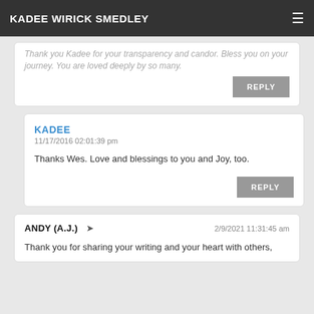KADEE WIRICK SMEDLEY
Thank you Kadee for your transparency and candor. Bless you on your journey. You are loved deeply by so many.
REPLY
KADEE
11/17/2016 02:01:39 pm
Thanks Wes. Love and blessings to you and Joy, too.
REPLY
ANDY (A.J.)
2/9/2021 11:31:45 am
Thank you for sharing your writing and your heart with others,